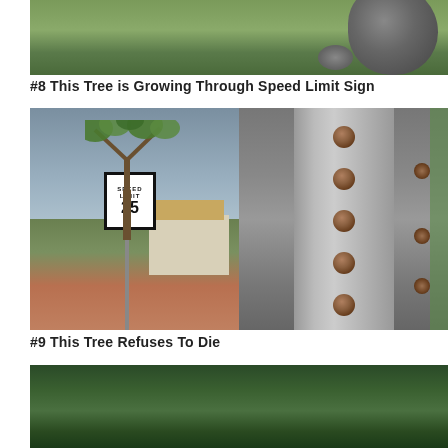[Figure (photo): Partial view of a large rock on green grass, top portion cut off]
#8 This Tree is Growing Through Speed Limit Sign
[Figure (photo): Two side-by-side photos: left shows a tree growing through a Speed Limit 25 sign in a residential neighborhood; right shows a close-up of the metal speed limit sign post with circular holes where the tree grew through]
#9 This Tree Refuses To Die
[Figure (photo): Partial view of green foliage/trees, bottom of page cut off]